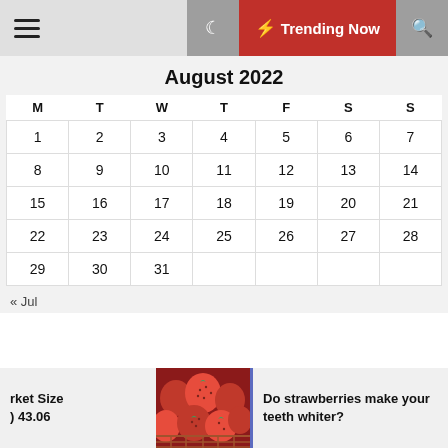Navigation bar with hamburger menu, moon icon, Trending Now button, and search icon
August 2022
| M | T | W | T | F | S | S |
| --- | --- | --- | --- | --- | --- | --- |
| 1 | 2 | 3 | 4 | 5 | 6 | 7 |
| 8 | 9 | 10 | 11 | 12 | 13 | 14 |
| 15 | 16 | 17 | 18 | 19 | 20 | 21 |
| 22 | 23 | 24 | 25 | 26 | 27 | 28 |
| 29 | 30 | 31 |  |  |  |  |
« Jul
rket Size
) 43.06
[Figure (photo): Photo of red strawberries in baskets]
Do strawberries make your teeth whiter?